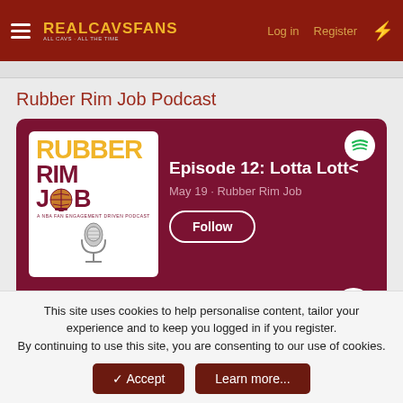RealCavsFans — Log in   Register
Rubber Rim Job Podcast
[Figure (screenshot): Spotify embedded player card showing Rubber Rim Job podcast, Episode 12: Lotta Lotta, May 19, Rubber Rim Job, with Follow button, PREVIEW label, play button, and three dots menu.]
This site uses cookies to help personalise content, tailor your experience and to keep you logged in if you register.
By continuing to use this site, you are consenting to our use of cookies.
✓ Accept
Learn more...